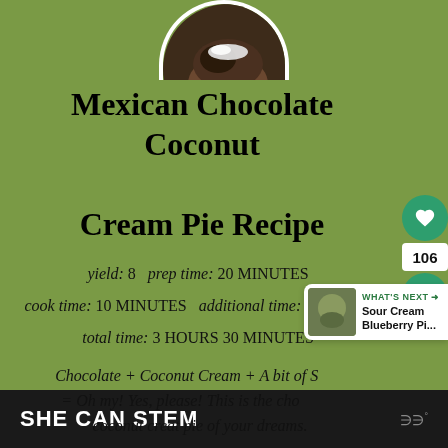[Figure (photo): Circular cropped photo of a chocolate coconut cream pie slice with whipped cream topping on a plate]
Mexican Chocolate Coconut Cream Pie Recipe
yield: 8   prep time: 20 MINUTES   cook time: 10 MINUTES   additional time: 3 HOURS   total time: 3 HOURS 30 MINUTES
Chocolate + Coconut Cream + A bit of S... = Oh my! Yes, please! This is the cho... coconut creat pie of your dreams.
SHE CAN STEM